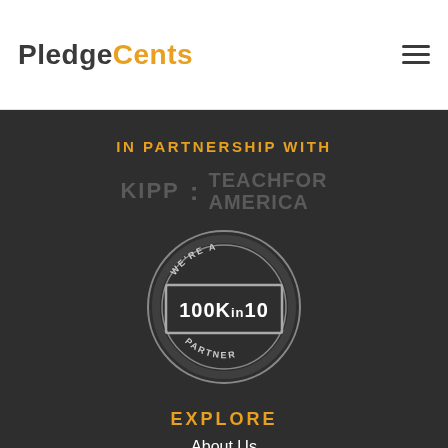[Figure (logo): PledgeCents logo with 'Pledge' in dark gray and 'Cents' in orange/gold]
[Figure (infographic): Hamburger menu icon (three horizontal lines) in top right corner]
IN PARTNERSHIP WITH
[Figure (logo): KIPP logo text in gray]
[Figure (logo): Teach For America logo text in gray]
[Figure (logo): 100Kin10 We're A Partner badge/seal in gray and white]
EXPLORE
About Us